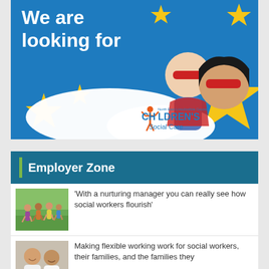[Figure (illustration): North East Lincolnshire Council Children's Social Care recruitment banner. Blue background with yellow stars, text 'We are looking for' in white, illustrated child wearing red mask and woman wearing red mask, gold star shape, and the council logo.]
Employer Zone
[Figure (photo): Children running outdoors on grass, smiling and playing.]
'With a nurturing manager you can really see how social workers flourish'
[Figure (photo): Two men smiling, photographed indoors.]
Making flexible working work for social workers, their families, and the families they